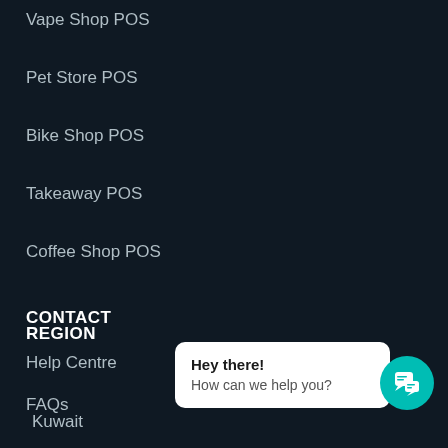Vape Shop POS
Pet Store POS
Bike Shop POS
Takeaway POS
Coffee Shop POS
CONTACT
Help Centre
FAQs
Contact Us
REGION
Kuwait
Hey there!
How can we help you?